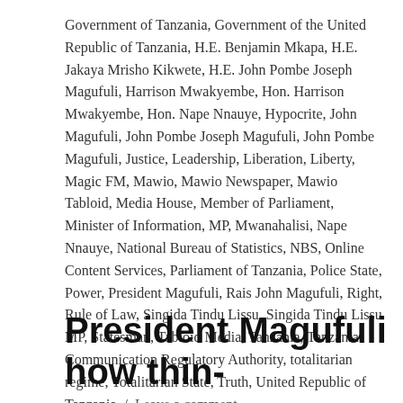Government of Tanzania, Government of the United Republic of Tanzania, H.E. Benjamin Mkapa, H.E. Jakaya Mrisho Kikwete, H.E. John Pombe Joseph Magufuli, Harrison Mwakyembe, Hon. Harrison Mwakyembe, Hon. Nape Nnauye, Hypocrite, John Magufuli, John Pombe Joseph Magufuli, John Pombe Magufuli, Justice, Leadership, Liberation, Liberty, Magic FM, Mawio, Mawio Newspaper, Mawio Tabloid, Media House, Member of Parliament, Minister of Information, MP, Mwanahalisi, Nape Nnauye, National Bureau of Statistics, NBS, Online Content Services, Parliament of Tanzania, Police State, Power, President Magufuli, Rais John Magufuli, Right, Rule of Law, Singida Tindu Lissu, Singida Tindu Lissu MP, Statesman, Tabloid Media, Tanzania, Tanzania Communication Regulatory Authority, totalitarian regime, Totalitarian State, Truth, United Republic of Tanzania / Leave a comment
President Magufuli how thin-